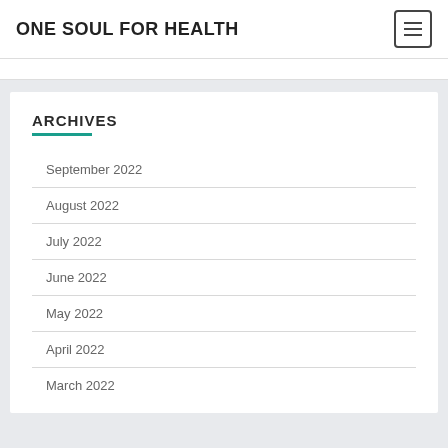ONE SOUL FOR HEALTH
ARCHIVES
September 2022
August 2022
July 2022
June 2022
May 2022
April 2022
March 2022